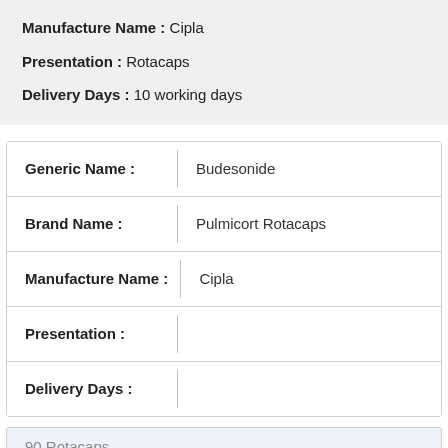Manufacture Name : Cipla
Presentation : Rotacaps
Delivery Days : 10 working days
| Field | Value |
| --- | --- |
| Generic Name : | Budesonide |
| Brand Name : | Pulmicort Rotacaps |
| Manufacture Name : | Cipla |
| Presentation : |  |
| Delivery Days : |  |
90 Rotacaps